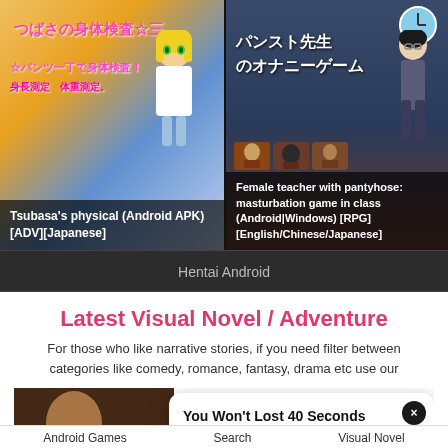[Figure (screenshot): Anime game screenshot - Tsubasa's physical examination game with Japanese text and anime character]
Tsubasa's physical (Android APK) [ADV][Japanese]
[Figure (screenshot): Anime RPG game screenshot - Female teacher with pantyhose, masturbation game in class]
Female teacher with pantyhose: masturbation game in class (Android|Windows) [RPG] [English/Chinese/Japanese]
Hentai Android
Latest Visual Novel / Adventure
For those who like narrative stories, if you need filter between categories like comedy, romance, fantasy, drama etc use our
[Figure (screenshot): Game thumbnail image]
You Won't Lost 40 Seconds Playing This Game
Try Not to Cum!
Android Games   Search   Visual Novel